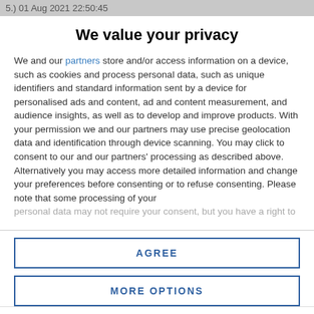5.) 01 Aug 2021 22:50:45
We value your privacy
We and our partners store and/or access information on a device, such as cookies and process personal data, such as unique identifiers and standard information sent by a device for personalised ads and content, ad and content measurement, and audience insights, as well as to develop and improve products. With your permission we and our partners may use precise geolocation data and identification through device scanning. You may click to consent to our and our partners' processing as described above. Alternatively you may access more detailed information and change your preferences before consenting or to refuse consenting. Please note that some processing of your personal data may not require your consent, but you have a right to
AGREE
MORE OPTIONS
sosanabs24